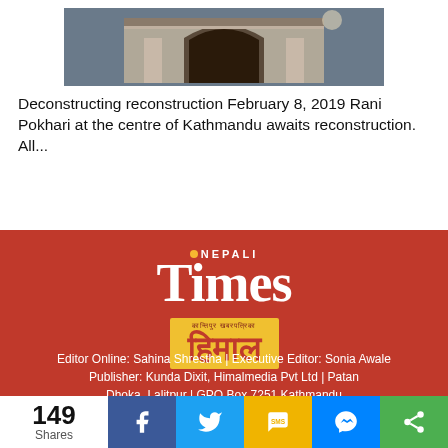[Figure (photo): Photograph of Rani Pokhari building facade in Kathmandu, showing an arched entrance of a heritage structure]
Deconstructing reconstruction February 8, 2019 Rani Pokhari at the centre of Kathmandu awaits reconstruction. All...
[Figure (logo): Nepali Times logo — white serif 'Times' text with 'NEPALI' above in small caps, yellow dot accent, on red background]
[Figure (logo): Himal Khabarpatrika logo — yellow background with red Devanagari text 'हिमाल' and small text above]
Editor Online: Sahina Shrestha | Executive Editor: Sonia Awale
Publisher: Kunda Dixit, Himalmedia Pvt Ltd | Patan Dhoka, Lalitpur | GPO Box 7251 Kathmandu
149 Shares